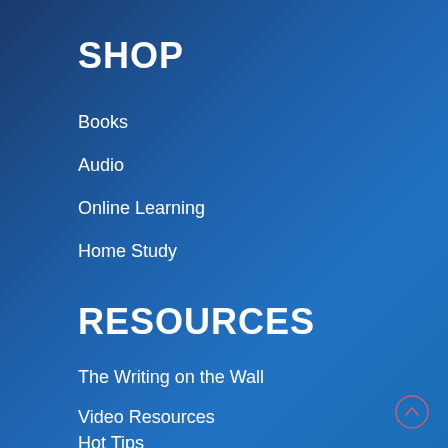SHOP
Books
Audio
Online Learning
Home Study
RESOURCES
The Writing on the Wall
Video Resources
Hot Tips